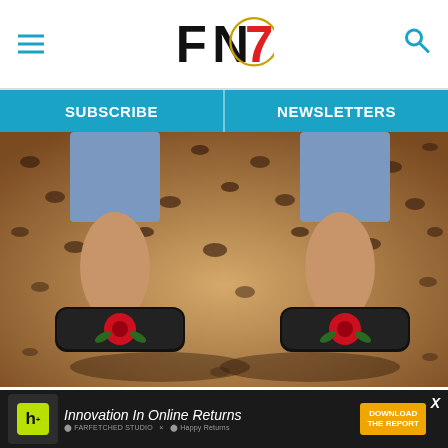FN7 — Footwear News header with hamburger menu and search icon
SUBSCRIBE | NEWSLETTERS
[Figure (photo): Close-up photo of feet wearing black fur slide sandals with red floral embellishment on a leopard-print carpet background, with cropped blue jeans visible above the ankles. Kate Spade fall '17 collection.]
Kate Spade fall '17 collection.
CREDIT: COURTESY OF BRAND
[Figure (other): Advertisement banner: Innovation In Online Returns — Download The Report, featuring h+ logo box and Happy Returns branding]